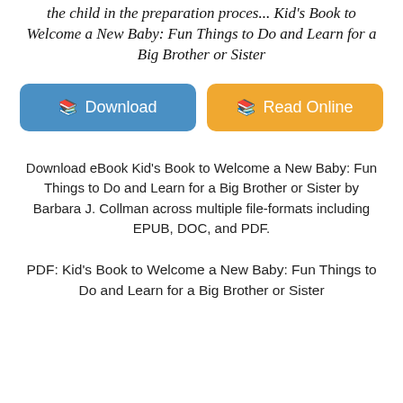the child in the preparation proces... Kid's Book to Welcome a New Baby: Fun Things to Do and Learn for a Big Brother or Sister
[Figure (infographic): Two buttons side by side: a blue 'Download' button with a book icon on the left, and an orange 'Read Online' button with a book icon on the right.]
Download eBook Kid's Book to Welcome a New Baby: Fun Things to Do and Learn for a Big Brother or Sister by Barbara J. Collman across multiple file-formats including EPUB, DOC, and PDF.
PDF: Kid's Book to Welcome a New Baby: Fun Things to Do and Learn for a Big Brother or Sister